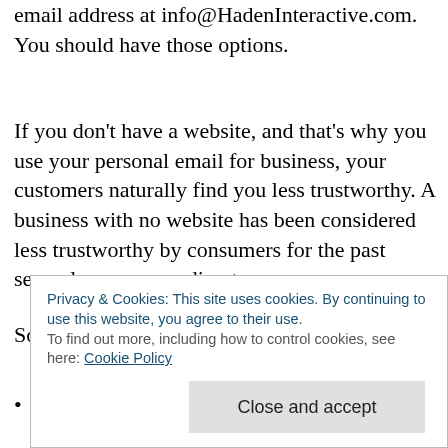email address at info@HadenInteractive.com. You should have those options.
If you don't have a website, and that's why you use your personal email for business, your customers naturally find you less trustworthy. A business with no website has been considered less trustworthy by consumers for the past several years, according to surveys.
So what should you do if you have this problem?
Use your professional email. Chances are, if you have a website, you have access to that option and just haven't arranged for it yet. You can have mail sent from the
Privacy & Cookies: This site uses cookies. By continuing to use this website, you agree to their use.
To find out more, including how to control cookies, see here: Cookie Policy